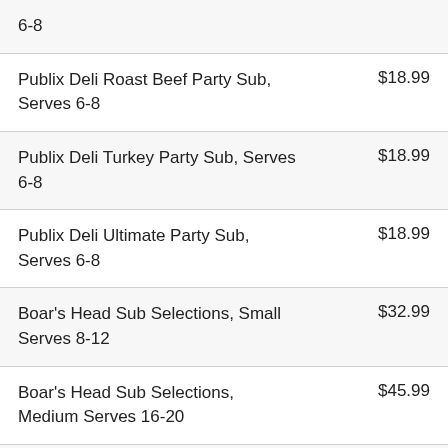| Item | Price |
| --- | --- |
| 6-8 |  |
| Publix Deli Roast Beef Party Sub, Serves 6-8 | $18.99 |
| Publix Deli Turkey Party Sub, Serves 6-8 | $18.99 |
| Publix Deli Ultimate Party Sub, Serves 6-8 | $18.99 |
| Boar's Head Sub Selections, Small Serves 8-12 | $32.99 |
| Boar's Head Sub Selections, Medium Serves 16-20 | $45.99 |
| Boar's Head Sub Selections, Large Serves 26-30 | $69.99 |